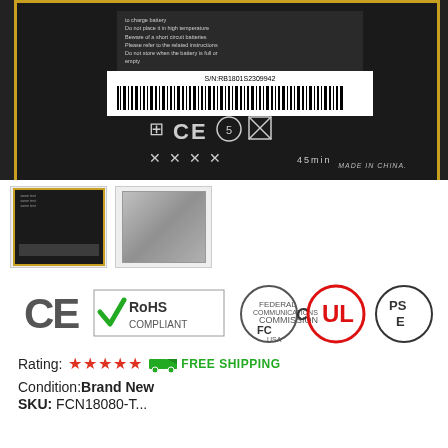[Figure (photo): Back of a smartphone battery showing safety instructions, serial number barcode S/N:RB1801S2309942, CE and other certification symbols, MADE IN CHINA label. Battery has black body with gold/yellow border.]
[Figure (photo): Two thumbnail images: left shows back of battery (black with yellow border), right shows front of battery (silver/grey).]
[Figure (infographic): Row of certification logos: CE mark, RoHS Compliant (with green checkmark), FCC (Federal Communications Commission USA), UL (Underwriters Laboratories), PSE logos.]
Rating: ★★★★★  🚚 FREE SHIPPING
Condition:Brand New
SKU: FCN18080-T...